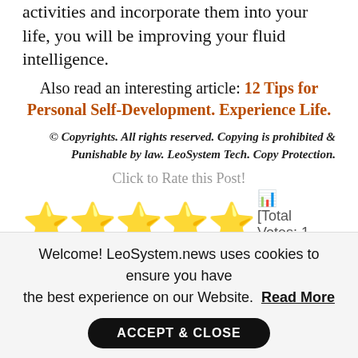activities and incorporate them into your life, you will be improving your fluid intelligence.
Also read an interesting article: 12 Tips for Personal Self-Development. Experience Life.
© Copyrights. All rights reserved. Copying is prohibited & Punishable by law. LeoSystem Tech. Copy Protection.
Click to Rate this Post!
[Figure (other): Five gold star rating icons with bar chart icon and text: [Total Votes: 1 Average Rating: 5]]
Welcome! LeoSystem.news uses cookies to ensure you have the best experience on our Website. Read More
ACCEPT & CLOSE